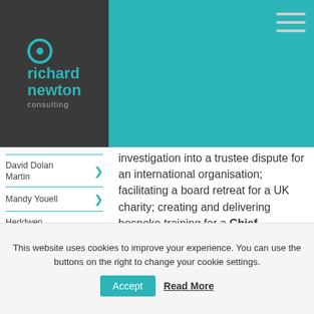[Figure (logo): Richard Newton Consulting logo — circular teal icon with inner dot, white/teal text on dark grey background reading 'richard newton consulting']
investigation into a trustee dispute for an international organisation; facilitating a board retreat for a UK charity; creating and delivering bespoke training for a Chief Executive and senior management team around capacity building; externally evaluating a major Community Fund project and coaching and
David Dolan Martin
Mandy Youell
Heddwen Pugh Evans
This website uses cookies to improve your experience. You can use the buttons on the right to change your cookie settings.